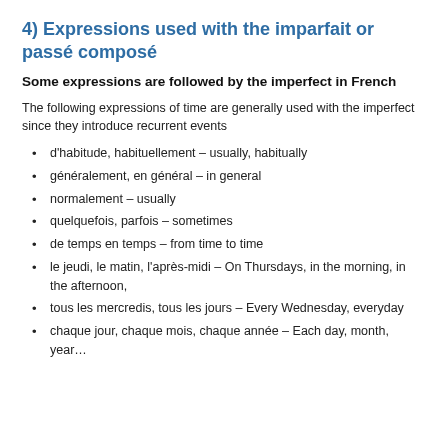4) Expressions used with the imparfait or passé composé
Some expressions are followed by the imperfect in French
The following expressions of time are generally used with the imperfect since they introduce recurrent events
d'habitude, habituellement – usually, habitually
généralement, en général – in general
normalement – usually
quelquefois, parfois – sometimes
de temps en temps – from time to time
le jeudi, le matin, l'après-midi – On Thursdays, in the morning, in the afternoon,
tous les mercredis, tous les jours  – Every Wednesday, everyday
chaque jour, chaque mois, chaque année  – Each day, month, year…